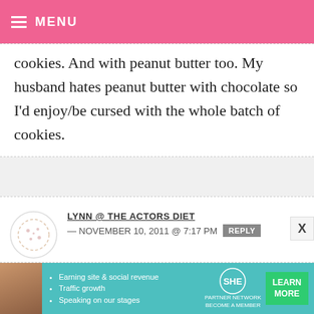MENU
cookies. And with peanut butter too. My husband hates peanut butter with chocolate so I’d enjoy/be cursed with the whole batch of cookies.
LYNN @ THE ACTORS DIET — NOVEMBER 10, 2011 @ 7:17 PM
i take comfort in having cookies around too – luckily i was just at a wedding where they had a “cookie table” you could bring home a bunch